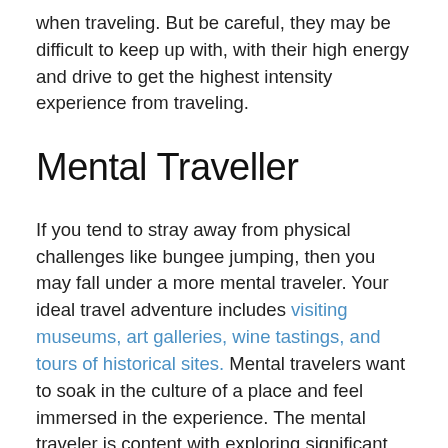when traveling. But be careful, they may be difficult to keep up with, with their high energy and drive to get the highest intensity experience from traveling.
Mental Traveller
If you tend to stray away from physical challenges like bungee jumping, then you may fall under a more mental traveler. Your ideal travel adventure includes visiting museums, art galleries, wine tastings, and tours of historical sites. Mental travelers want to soak in the culture of a place and feel immersed in the experience. The mental traveler is content with exploring significant locations in an area and feeling the sense that they have learned something factual from the